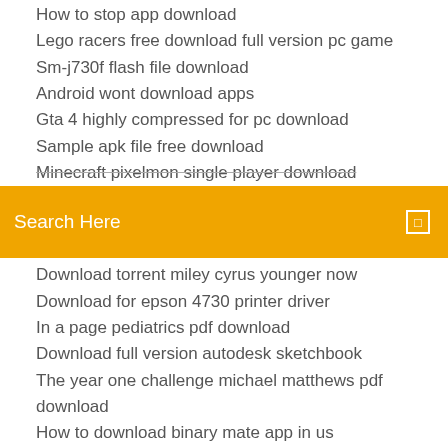How to stop app download
Lego racers free download full version pc game
Sm-j730f flash file download
Android wont download apps
Gta 4 highly compressed for pc download
Sample apk file free download
Minecraft pixelmon single player download
[Figure (screenshot): Orange/amber search bar with text 'Search Here' and a small icon on the right]
Download torrent miley cyrus younger now
Download for epson 4730 printer driver
In a page pediatrics pdf download
Download full version autodesk sketchbook
The year one challenge michael matthews pdf download
How to download binary mate app in us
Can i download apps without a data plan
Download khmer unicode last version
Download music from google drive to android tablet
Kingo root download for pc latest version